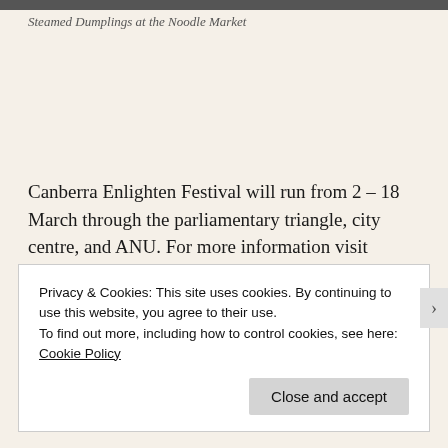[Figure (photo): Top strip of an image showing steamed dumplings at the Noodle Market]
Steamed Dumplings at the Noodle Market
Canberra Enlighten Festival will run from 2 – 18 March through the parliamentary triangle, city centre, and ANU. For more information visit www.enlightencanberra.com
Advertisements
[Figure (logo): Pressable logo with blue P icon]
Privacy & Cookies: This site uses cookies. By continuing to use this website, you agree to their use.
To find out more, including how to control cookies, see here: Cookie Policy